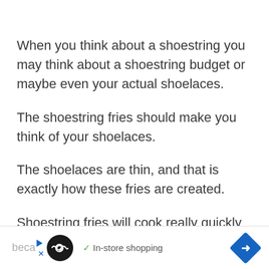When you think about a shoestring you may think about a shoestring budget or maybe even your actual shoelaces.
The shoestring fries should make you think of your shoelaces.
The shoelaces are thin, and that is exactly how these fries are created.
Shoestring fries will cook really quickly
beca ✓ In-store shopping →